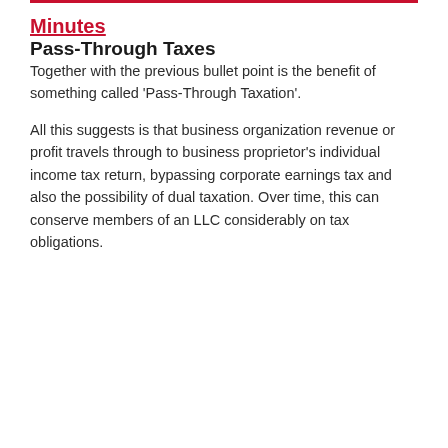Minutes
Pass-Through Taxes
Together with the previous bullet point is the benefit of something called ‘Pass-Through Taxation’.
All this suggests is that business organization revenue or profit travels through to business proprietor’s individual income tax return, bypassing corporate earnings tax and also the possibility of dual taxation. Over time, this can conserve members of an LLC considerably on tax obligations.